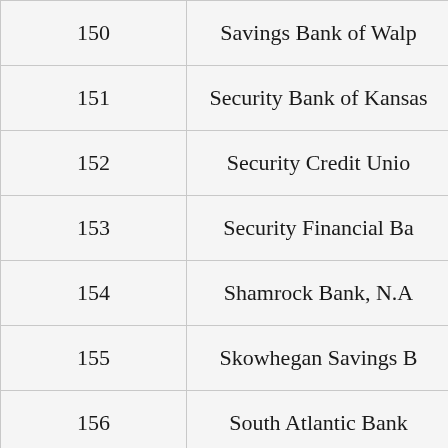| # | Institution |
| --- | --- |
| 150 | Savings Bank of Walp… |
| 151 | Security Bank of Kansas… |
| 152 | Security Credit Unio… |
| 153 | Security Financial Ba… |
| 154 | Shamrock Bank, N.A… |
| 155 | Skowhegan Savings B… |
| 156 | South Atlantic Bank… |